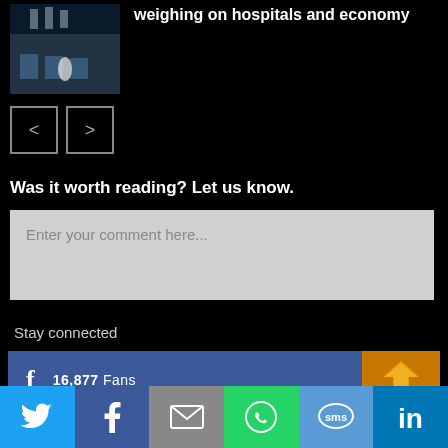[Figure (photo): Small thumbnail image of a blue-toned indoor scene with chairs]
weighing on hospitals and economy
[Figure (other): Navigation previous and next arrow buttons]
Was it worth reading? Let us know.
Enter your comment here...
Stay connected
[Figure (infographic): Facebook fan bar showing 16,877 Fans with a LIKE button and orange arrow icon]
[Figure (infographic): Social share bottom bar with Twitter, Facebook, Email, WhatsApp, SMS, LinkedIn icons]